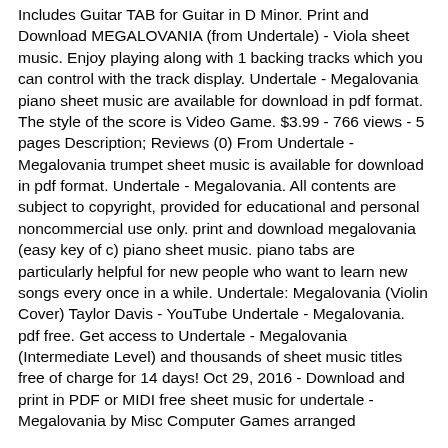Includes Guitar TAB for Guitar in D Minor. Print and Download MEGALOVANIA (from Undertale) - Viola sheet music. Enjoy playing along with 1 backing tracks which you can control with the track display. Undertale - Megalovania piano sheet music are available for download in pdf format. The style of the score is Video Game. $3.99 - 766 views - 5 pages Description; Reviews (0) From Undertale - Megalovania trumpet sheet music is available for download in pdf format. Undertale - Megalovania. All contents are subject to copyright, provided for educational and personal noncommercial use only. print and download megalovania (easy key of c) piano sheet music. piano tabs are particularly helpful for new people who want to learn new songs every once in a while. Undertale: Megalovania (Violin Cover) Taylor Davis - YouTube Undertale - Megalovania. pdf free. Get access to Undertale - Megalovania (Intermediate Level) and thousands of sheet music titles free of charge for 14 days! Oct 29, 2016 - Download and print in PDF or MIDI free sheet music for undertale - Megalovania by Misc Computer Games arranged